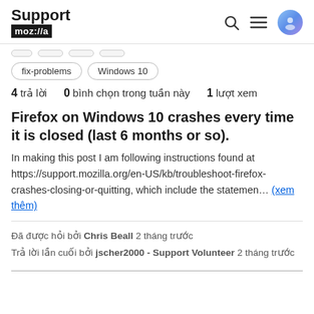Support mozilla
4 trả lời  0 bình chọn trong tuần này  1 lượt xem
Firefox on Windows 10 crashes every time it is closed (last 6 months or so).
In making this post I am following instructions found at https://support.mozilla.org/en-US/kb/troubleshoot-firefox-crashes-closing-or-quitting, which include the statemen... (xem thêm)
Đã được hỏi bởi Chris Beall 2 tháng trước
Trả lời lần cuối bởi jscher2000 - Support Volunteer 2 tháng trước